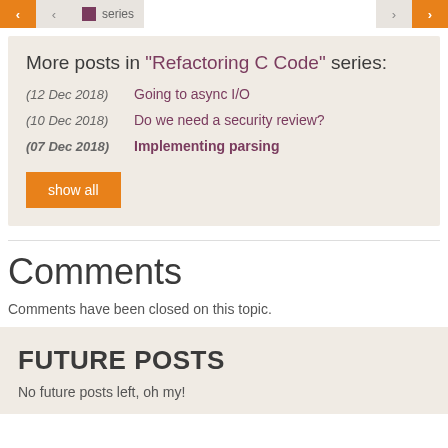< | < | series | > | >
More posts in "Refactoring C Code" series:
(12 Dec 2018) Going to async I/O
(10 Dec 2018) Do we need a security review?
(07 Dec 2018) Implementing parsing
show all
Comments
Comments have been closed on this topic.
FUTURE POSTS
No future posts left, oh my!